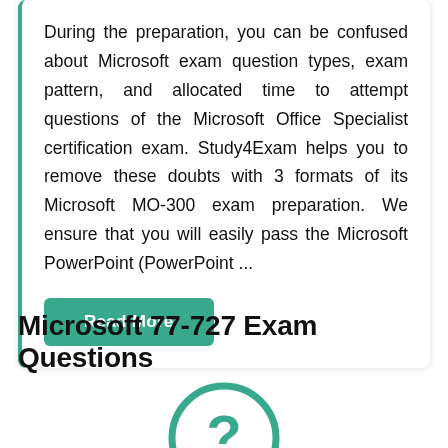During the preparation, you can be confused about Microsoft exam question types, exam pattern, and allocated time to attempt questions of the Microsoft Office Specialist certification exam. Study4Exam helps you to remove these doubts with 3 formats of its Microsoft MO-300 exam preparation. We ensure that you will easily pass the Microsoft PowerPoint (PowerPoint ...
Read More
Microsoft 77-727 Exam Questions
[Figure (illustration): Teal/green circular icon with a question mark symbol, partially visible at the bottom of the page]